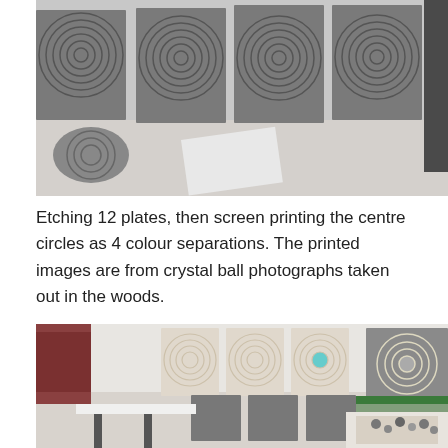[Figure (photo): Studio photograph showing multiple large square panels with concentric circle etchings leaning against a wall, viewed from above on a studio floor.]
Etching 12 plates, then screen printing the centre circles as 4 colour separations. The printed images are from crystal ball photographs taken out in the woods.
[Figure (photo): Studio photograph showing prints and metal etching plates displayed along a wall, with a worktable in the foreground holding various art materials and supplies.]